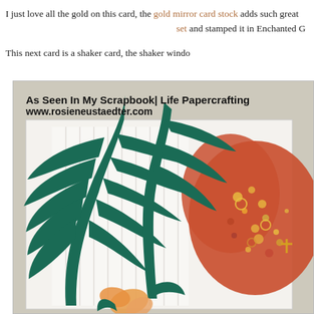I just love all the gold on this card, the gold mirror card stock adds such great set and stamped it in Enchanted G
This next card is a shaker card, the shaker windo
[Figure (photo): A close-up photo of a handmade shaker card featuring large teal/dark green die-cut tropical palm leaves layered on a white card base, with a coral/orange hibiscus flower shape visible on the right filled with colorful sequins and embellishments. The card has a light beige/grey textured background. A watermark reads 'As Seen In My Scrapbook| Life Papercrafting www.rosieneustaedter.com'.]